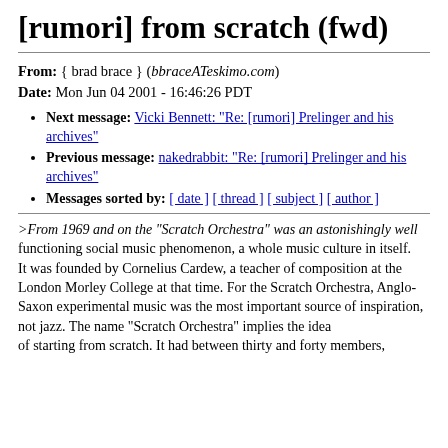[rumori] from scratch (fwd)
From: { brad brace } (bbraceATeskimo.com)
Date: Mon Jun 04 2001 - 16:46:26 PDT
Next message: Vicki Bennett: "Re: [rumori] Prelinger and his archives"
Previous message: nakedrabbit: "Re: [rumori] Prelinger and his archives"
Messages sorted by: [ date ] [ thread ] [ subject ] [ author ]
>From 1969 and on the "Scratch Orchestra" was an astonishingly well
functioning social music phenomenon, a whole music culture in itself.
It was founded by Cornelius Cardew, a teacher of composition at the
London Morley College at that time. For the Scratch Orchestra, Anglo-Saxon experimental music was the most important source of inspiration, not jazz. The name "Scratch Orchestra" implies the idea
of starting from scratch. It had between thirty and forty members,